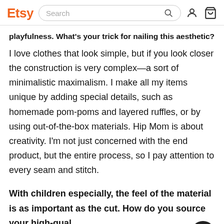Etsy [Search bar] [user icon] [cart icon]
playfulness. What's your trick for nailing this aesthetic?
I love clothes that look simple, but if you look closer the construction is very complex—a sort of minimalistic maximalism. I make all my items unique by adding special details, such as homemade pom-poms and layered ruffles, or by using out-of-the-box materials. Hip Mom is about creativity. I'm not just concerned with the end product, but the entire process, so I pay attention to every seam and stitch.
With children especially, the feel of the material is as important as the cut. How do you source your high-quality fabrics?